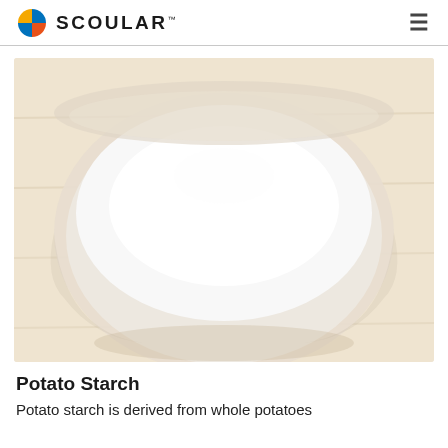SCOULAR
[Figure (photo): A white bowl filled with white potato starch powder, photographed from above on a light wooden background]
Potato Starch
Potato starch is derived from whole potatoes